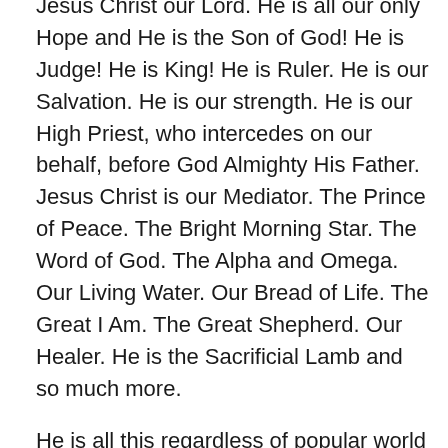Jesus Christ our Lord. He is all our only Hope and He is the Son of God! He is Judge! He is King! He is Ruler. He is our Salvation. He is our strength. He is our High Priest, who intercedes on our behalf, before God Almighty His Father. Jesus Christ is our Mediator. The Prince of Peace. The Bright Morning Star. The Word of God. The Alpha and Omega. Our Living Water. Our Bread of Life. The Great I Am. The Great Shepherd. Our Healer. He is the Sacrificial Lamb and so much more.
He is all this regardless of popular world views and beliefs. Regardless of any atheist or godless people who do not believe or refuses to believe. He still exists. Sits at the right hand of God Almighty, the Father. And He will manifest Himself to all humanity in the end, regardless.
So, are you ready to meet God Almighty's only begotten Son, the Lord Jesus Christ? Are you ready to meet God?